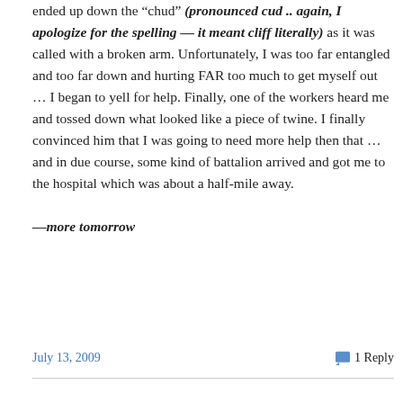ended up down the “chud” (pronounced cud .. again, I apologize for the spelling — it meant cliff literally) as it was called with a broken arm. Unfortunately, I was too far entangled and too far down and hurting FAR too much to get myself out … I began to yell for help. Finally, one of the workers heard me and tossed down what looked like a piece of twine. I finally convinced him that I was going to need more help then that … and in due course, some kind of battalion arrived and got me to the hospital which was about a half-mile away.

—more tomorrow
July 13, 2009    1 Reply